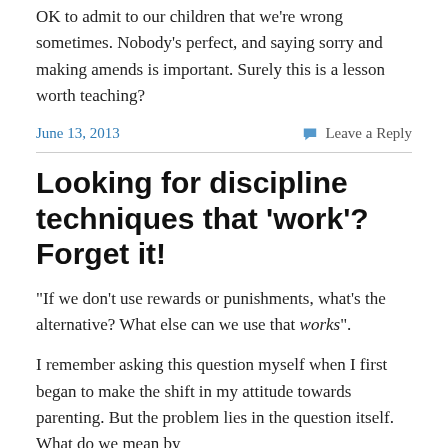OK to admit to our children that we're wrong sometimes. Nobody's perfect, and saying sorry and making amends is important. Surely this is a lesson worth teaching?
June 13, 2013    Leave a Reply
Looking for discipline techniques that 'work'? Forget it!
“If we don’t use rewards or punishments, what’s the alternative? What else can we use that works”.
I remember asking this question myself when I first began to make the shift in my attitude towards parenting. But the problem lies in the question itself. What do we mean by